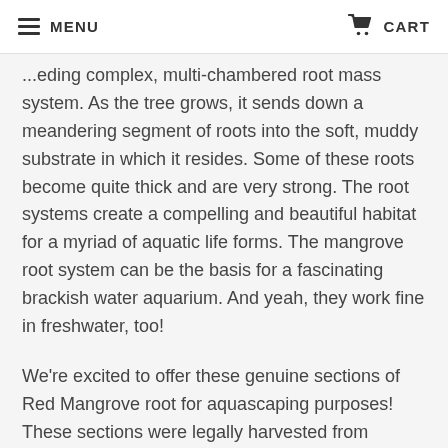MENU  CART
...eding complex, multi-chambered root mass system. As the tree grows, it sends down a meandering segment of roots into the soft, muddy substrate in which it resides. Some of these roots become quite thick and are very strong. The root systems create a compelling and beautiful habitat for a myriad of aquatic life forms. The mangrove root system can be the basis for a fascinating brackish water aquarium. And yeah, they work fine in freshwater, too!
We're excited to offer these genuine sections of Red Mangrove root for aquascaping purposes! These sections were legally harvested from Hawaii, with the approval of the State of Hawaii and the USDA, which have designated the species "invasive" in the state, and are happy to see it removed! And of